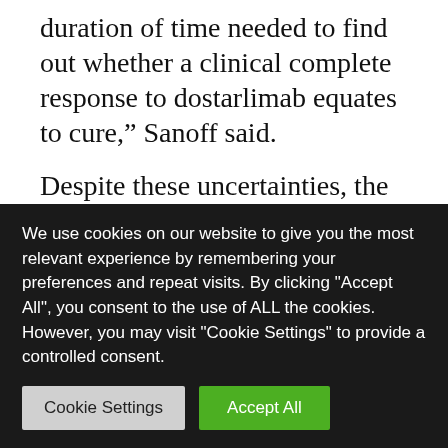duration of time needed to find out whether a clinical complete response to dostarlimab equates to cure,” Sanoff said.
Despite these uncertainties, the new trial results are “ompelling” and hint that, in the future, there could be a dramatic shift in how rectal cancer is treated, she wrote. “If immunotherapy can be a curative treatment for rectal cancer, eligible patients may no longer have to accept functional
We use cookies on our website to give you the most relevant experience by remembering your preferences and repeat visits. By clicking "Accept All", you consent to the use of ALL the cookies. However, you may visit "Cookie Settings" to provide a controlled consent.